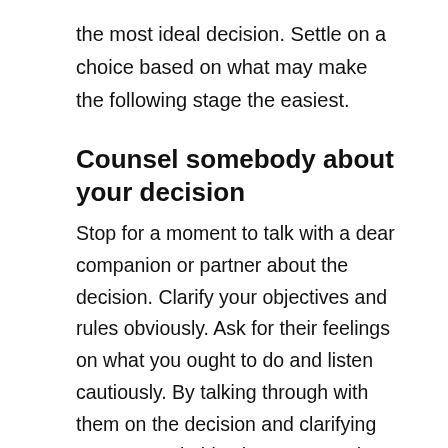the most ideal decision. Settle on a choice based on what may make the following stage the easiest.
Counsel somebody about your decision
Stop for a moment to talk with a dear companion or partner about the decision. Clarify your objectives and rules obviously. Ask for their feelings on what you ought to do and listen cautiously. By talking through with them on the decision and clarifying your general objectives, you ought to have the option to get a few bits of knowledge on the issue.